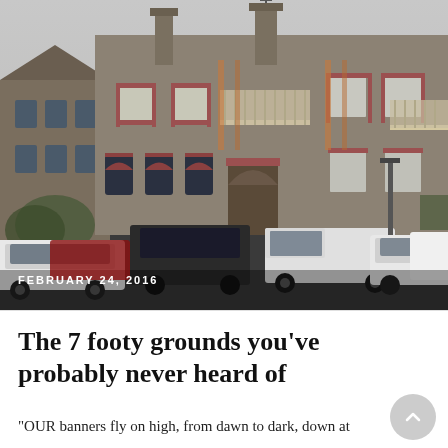[Figure (photo): Exterior photograph of a large multi-storey building with a taupe/grey rendered facade, red brick arched window surrounds, chimneys, balconies, and multiple cars parked in front. Taken on an overcast day.]
FEBRUARY 24, 2016
The 7 footy grounds you've probably never heard of
“OUR banners fly on high, from dawn to dark, down at Arden Paddock.” It doesn’t have the same ring to it,